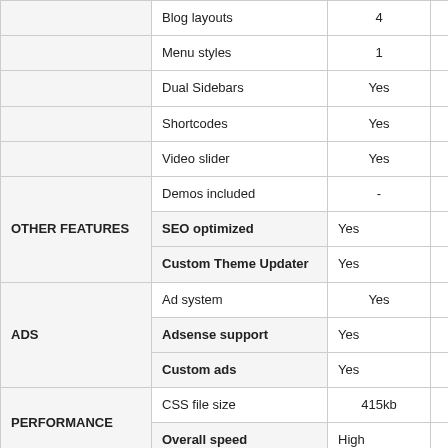|  | Feature | Col1 | Col2 |
| --- | --- | --- | --- |
|  | Blog layouts | 4 | 50 |
|  | Menu styles | 1 | 1 |
|  | Dual Sidebars | Yes | - |
|  | Shortcodes | Yes | Yes |
|  | Video slider | Yes | Yes |
| OTHER FEATURES | Demos included | - | 33 |
|  | SEO optimized | Yes | Yes |
|  | Custom Theme Updater | Yes | - |
| ADS | Ad system | Yes | - |
|  | Adsense support | Yes | - |
|  | Custom ads | Yes | Yes |
| PERFORMANCE | CSS file size | 415kb | 650KB |
|  | Overall speed | High | High |